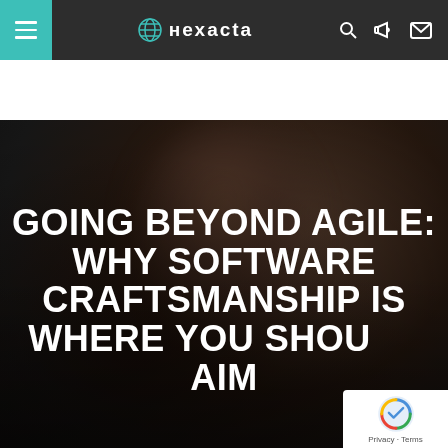нехаста — navigation bar with hamburger menu, logo, search, notification, and mail icons
[Figure (photo): Dark hero image with blurred human figure in background, teal/dark tones]
GOING BEYOND AGILE: WHY SOFTWARE CRAFTSMANSHIP IS WHERE YOU SHOULD AIM